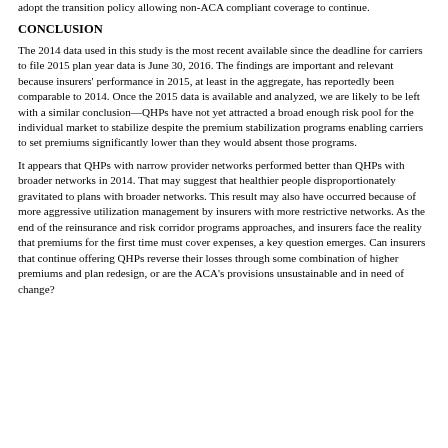adopt the transition policy allowing non-ACA compliant coverage to continue.
CONCLUSION
The 2014 data used in this study is the most recent available since the deadline for carriers to file 2015 plan year data is June 30, 2016. The findings are important and relevant because insurers' performance in 2015, at least in the aggregate, has reportedly been comparable to 2014. Once the 2015 data is available and analyzed, we are likely to be left with a similar conclusion—QHPs have not yet attracted a broad enough risk pool for the individual market to stabilize despite the premium stabilization programs enabling carriers to set premiums significantly lower than they would absent those programs.
It appears that QHPs with narrow provider networks performed better than QHPs with broader networks in 2014. That may suggest that healthier people disproportionately gravitated to plans with broader networks. This result may also have occurred because of more aggressive utilization management by insurers with more restrictive networks. As the end of the reinsurance and risk corridor programs approaches, and insurers face the reality that premiums for the first time must cover expenses, a key question emerges. Can insurers that continue offering QHPs reverse their losses through some combination of higher premiums and plan redesign, or are the ACA's provisions unsustainable and in need of change?